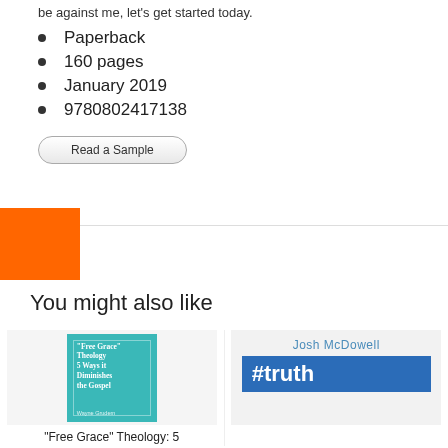be against me, let's get started today.
Paperback
160 pages
January 2019
9780802417138
Read a Sample
You might also like
[Figure (illustration): Book cover: 'Free Grace' Theology: 5 Ways it Diminishes the Gospel by Wayne Grudem, teal cover]
"Free Grace" Theology: 5
[Figure (illustration): Book cover: #truth by Josh McDowell, blue brush stroke design]